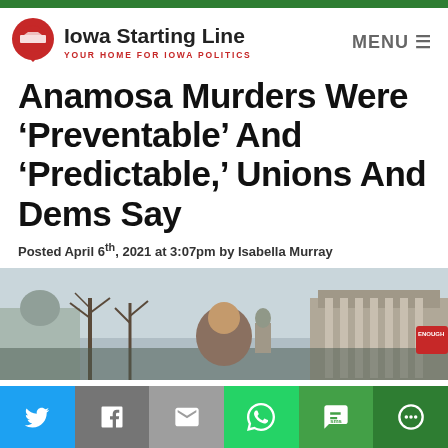Iowa Starting Line — YOUR HOME FOR IOWA POLITICS
Anamosa Murders Were ‘Preventable’ And ‘Predictable,’ Unions And Dems Say
Posted April 6th, 2021 at 3:07pm by Isabella Murray
[Figure (photo): Man speaking at outdoor rally in front of Iowa State Capitol building, crowd gathered behind him, a red STOP sign visible with 'ENOUGH' text, bare winter trees in background]
[Figure (infographic): Social media share bar with Twitter, Facebook, Email, WhatsApp, SMS, and More buttons]